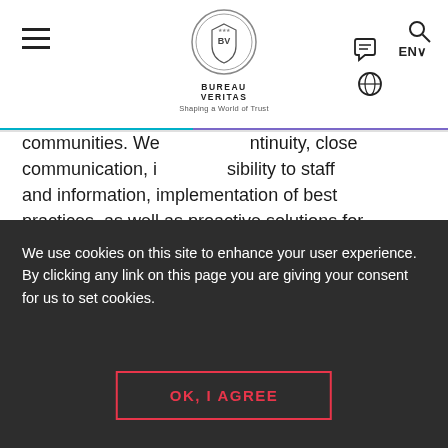Bureau Veritas – Shaping a World of Trust
communities. We [continuity, close communication, i[...] sibility to staff and information, implementation of best practices, as well as proactive solutions for issues not clearly identified in the regulations and standards.
KEY BENEFITS OF OUR
We use cookies on this site to enhance your user experience. By clicking any link on this page you are giving your consent for us to set cookies.
OK, I AGREE